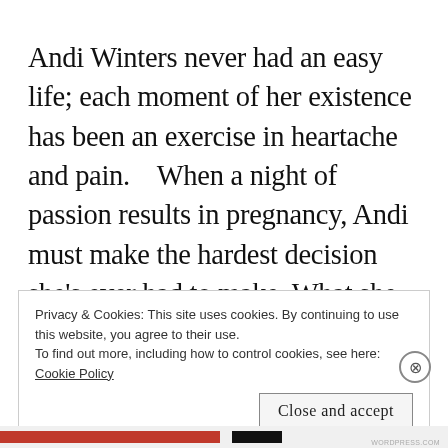Andi Winters never had an easy life; each moment of her existence has been an exercise in heartache and pain.    When a night of passion results in pregnancy, Andi must make the hardest decision she's ever had to make. What she doesn't realize is the consequences of her decision could prove dire for the ...
Privacy & Cookies: This site uses cookies. By continuing to use this website, you agree to their use.
To find out more, including how to control cookies, see here:
Cookie Policy
Close and accept